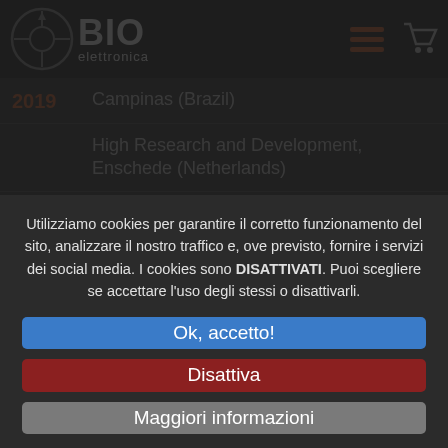[Figure (logo): BioElettronica logo with navigation bar showing hamburger menu and cart icon]
2019 — Campinas (Brazil)
High Research and Development, Enschede (Netherlands)
2019 — Universidade do Porto, Porto (Portugal)
2019 — CNPq, Conselho Nacional de Desenvolvimento Cientifico e Tecnológico, Lago Sul Brasilia (Brazil)
Utilizziamo cookies per garantire il corretto funzionamento del sito, analizzare il nostro traffico e, ove previsto, fornire i servizi dei social media. I cookies sono DISATTIVATI. Puoi scegliere se accettare l'uso degli stessi o disattivarli.
Ok, accetto!
Disattiva
Maggiori informazioni